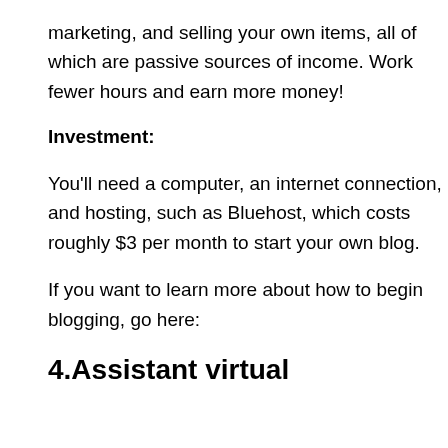marketing, and selling your own items, all of which are passive sources of income. Work fewer hours and earn more money!
Investment:
You'll need a computer, an internet connection, and hosting, such as Bluehost, which costs roughly $3 per month to start your own blog.
If you want to learn more about how to begin blogging, go here:
4.Assistant virtual